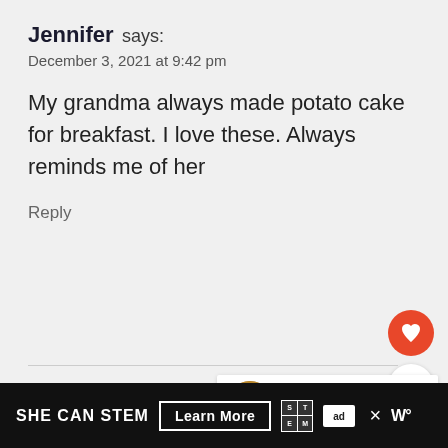Jennifer says:
December 3, 2021 at 9:42 pm
My grandma always made potato cake for breakfast. I love these. Always reminds me of her
Reply
[Figure (screenshot): Circular heart/like button (orange/red) and circular share button (white with share icon)]
[Figure (infographic): What's Next promotional box showing Potato Latke Recipe (skill...) with a food thumbnail image]
Cheryl says:
[Figure (infographic): Advertisement bar: SHE CAN STEM with Learn More button, STEM logo, Ad Council logo, and X and W logos]